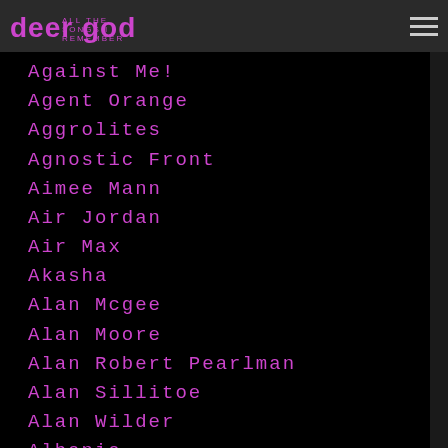deer god
Against Me!
Agent Orange
Aggrolites
Agnostic Front
Aimee Mann
Air Jordan
Air Max
Akasha
Alan Mcgee
Alan Moore
Alan Robert Pearlman
Alan Sillitoe
Alan Wilder
Albania
Albert Finney
Albert Hammond Jr
Albert King